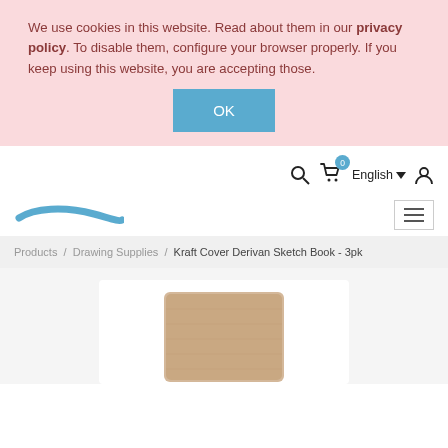We use cookies in this website. Read about them in our privacy policy. To disable them, configure your browser properly. If you keep using this website, you are accepting those.
OK
[Figure (screenshot): Navigation bar with search icon, cart icon with badge showing 0, English language selector with dropdown arrow, and user/account icon]
[Figure (logo): Website logo - blue brushstroke style logo]
[Figure (screenshot): Hamburger menu button (three horizontal lines)]
Products / Drawing Supplies / Kraft Cover Derivan Sketch Book - 3pk
[Figure (photo): Product photo of a Kraft Cover Derivan Sketch Book - 3pk, showing a beige/kraft paper covered sketchbook]